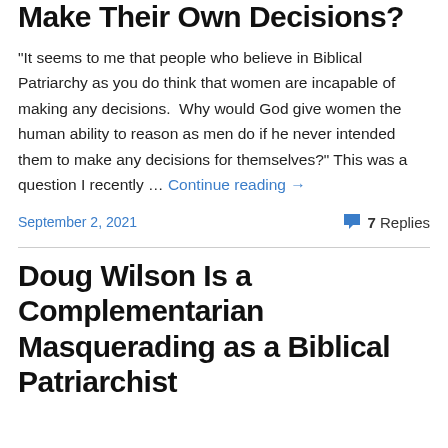Make Their Own Decisions?
“It seems to me that people who believe in Biblical Patriarchy as you do think that women are incapable of making any decisions.  Why would God give women the human ability to reason as men do if he never intended them to make any decisions for themselves?” This was a question I recently … Continue reading →
September 2, 2021    7 Replies
Doug Wilson Is a Complementarian Masquerading as a Biblical Patriarchist